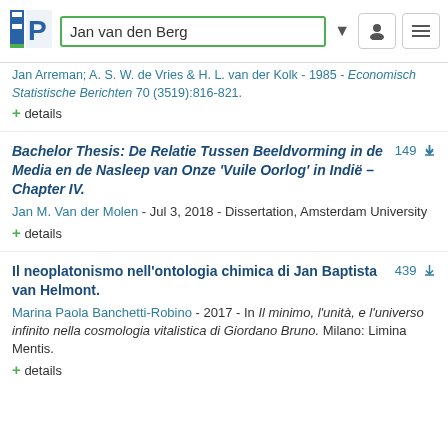Jan van den Berg
Jan Arreman; A. S. W. de Vries & H. L. van der Kolk - 1985 - Economisch Statistische Berichten 70 (3519):816-821.
+ details
Bachelor Thesis: De Relatie Tussen Beeldvorming in de Media en de Nasleep van Onze ‘Vuile Oorlog’ in Indië – Chapter IV.
149 downloads
Jan M. Van der Molen - Jul 3, 2018 - Dissertation, Amsterdam University
+ details
Il neoplatonismo nell'ontologia chimica di Jan Baptista van Helmont.
439 downloads
Marina Paola Banchetti-Robino - 2017 - In Il minimo, l’unità, e l’universo infinito nella cosmologia vitalistica di Giordano Bruno. Milano: Limina Mentis.
+ details